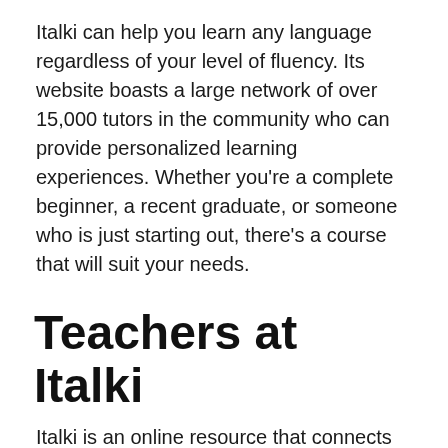Italki can help you learn any language regardless of your level of fluency. Its website boasts a large network of over 15,000 tutors in the community who can provide personalized learning experiences. Whether you're a complete beginner, a recent graduate, or someone who is just starting out, there's a course that will suit your needs.
Teachers at Italki
Italki is an online resource that connects language learners with native speakers. This platform allows students of all levels to connect with language learners from all over the world to learn and teach any language.